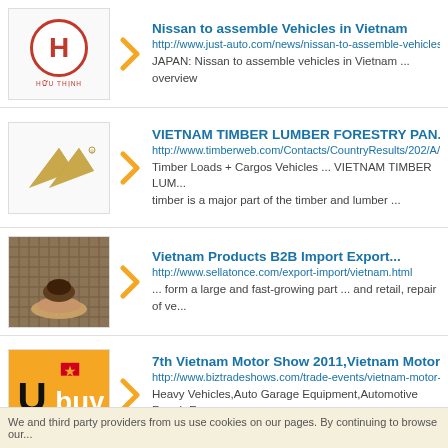[Figure (logo): Huu Thinh company logo with red circle and H letter]
Nissan to assemble Vehicles in Vietnam
http://www.just-auto.com/news/nissan-to-assemble-vehicles-i...
JAPAN: Nissan to assemble vehicles in Vietnam ... overview
[Figure (logo): Vietnam Timber Lumber gold chevron logo]
VIETNAM TIMBER LUMBER FORESTRY PAN...
http://www.timberweb.com/Contacts/CountryResults/202/A/1...
Timber Loads + Cargos Vehicles ... VIETNAM TIMBER LUM... timber is a major part of the timber and lumber ...
[Figure (photo): Hand holding soil/seeds against woven mat background]
Vietnam Products B2B Import Export...
http://www.sellatonce.com/export-import/vietnam.html
... form a large and fast-growing part ... and retail, repair of ve...
[Figure (logo): Ubuy logo with yellow background and Vietnam flag star]
7th Vietnam Motor Show 2011,Vietnam Motor...
http://www.biztradeshows.com/trade-events/vietnam-motor-s...
Heavy Vehicles,Auto Garage Equipment,Automotive Repair E... welcome spare part ...
We and third party providers from us use cookies on our pages. By continuing to browse our...